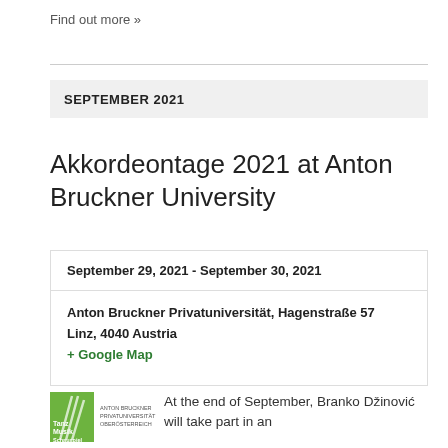Find out more »
SEPTEMBER 2021
Akkordeontage 2021 at Anton Bruckner University
| September 29, 2021 - September 30, 2021 |
| Anton Bruckner Privatuniversität, Hagenstraße 57
Linz, 4040 Austria
+ Google Map |
At the end of September, Branko Džinović will take part in an